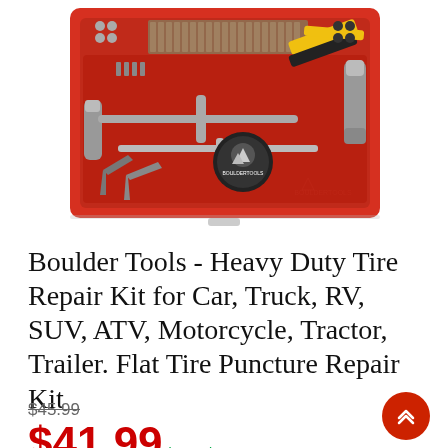[Figure (photo): Boulder Tools tire repair kit in open red hard case showing various tools including pliers, T-bar tools, hex wrenches, rubber plugs, and a round tin labeled BoulderTools]
Boulder Tools - Heavy Duty Tire Repair Kit for Car, Truck, RV, SUV, ATV, Motorcycle, Tractor, Trailer. Flat Tire Puncture Repair Kit
$45.99 (original price, crossed out)
$41.99 in stock